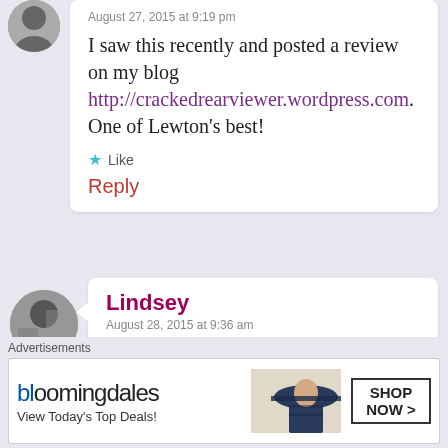August 27, 2015 at 9:19 pm
I saw this recently and posted a review on my blog http://crackedrearviewer.wordpress.com. One of Lewton's best!
Like
Reply
Lindsey
August 28, 2015 at 9:36 am
I'll be sure to check out your post! :) I'm utterly awful at
Advertisements
[Figure (infographic): Bloomingdales advertisement banner: bloomingdales logo, 'View Today's Top Deals!', woman with hat image, 'SHOP NOW >' button]